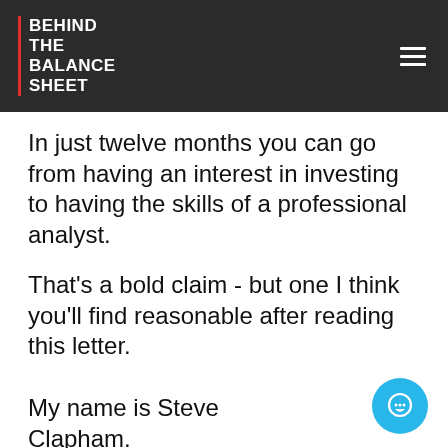BEHIND THE BALANCE SHEET
In just twelve months you can go from having an interest in investing to having the skills of a professional analyst.
That's a bold claim - but one I think you'll find reasonable after reading this letter.
My name is Steve Clapham.